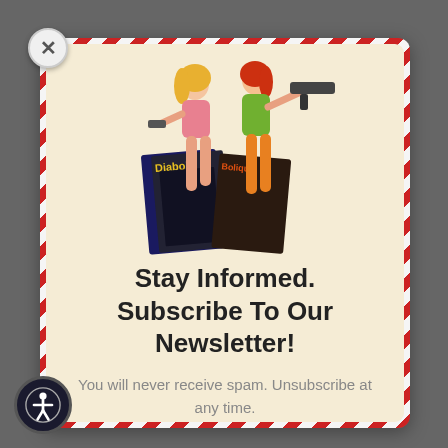[Figure (illustration): Two women in retro spy/action style illustration holding weapons, standing in front of Diabolique comic/magazine covers]
Stay Informed. Subscribe To Our Newsletter!
You will never receive spam. Unsubscribe at any time.